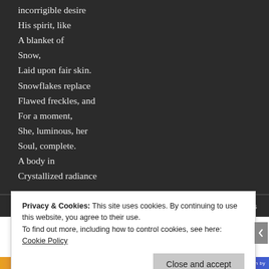incorrigible desire
His spirit, like
A blanket of
Snow,
Laid upon fair skin.
Snowflakes replace
Flawed freckles, and
For a moment,
She, luminous, her
Soul, complete.
A body in
Crystallized radiance
Aside   29 Comments
Privacy & Cookies: This site uses cookies. By continuing to use this website, you agree to their use.
To find out more, including how to control cookies, see here: Cookie Policy